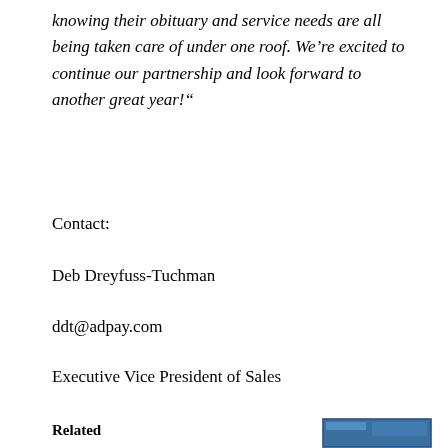knowing their obituary and service needs are all being taken care of under one roof. We’re excited to continue our partnership and look forward to another great year!“
Contact:
Deb Dreyfuss-Tuchman
ddt@adpay.com
Executive Vice President of Sales
Related
[Figure (screenshot): Small thumbnail image at bottom right of page]